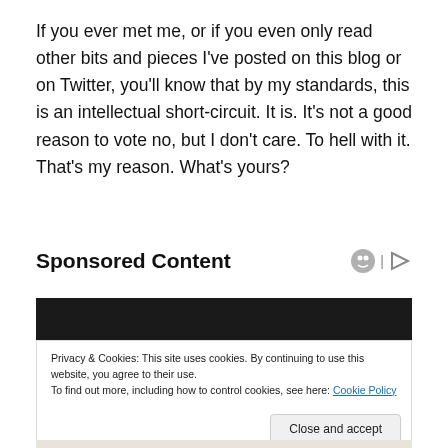If you ever met me, or if you even only read other bits and pieces I've posted on this blog or on Twitter, you'll know that by my standards, this is an intellectual short-circuit. It is. It's not a good reason to vote no, but I don't care. To hell with it. That's my reason. What's yours?
Sponsored Content
[Figure (photo): Dark image, part of sponsored content area]
Privacy & Cookies: This site uses cookies. By continuing to use this website, you agree to their use.
To find out more, including how to control cookies, see here: Cookie Policy
Close and accept
[Figure (photo): Bottom image, partially visible, appears to show a person]